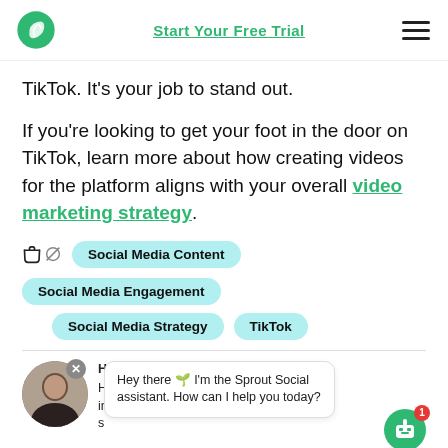Start Your Free Trial
TikTok. It's your job to stand out.
If you're looking to get your foot in the door on TikTok, learn more about how creating videos for the platform aligns with your overall video marketing strategy.
Social Media Content
Social Media Engagement
Social Media Strategy
TikTok
Hey there 🌱 I'm the Sprout Social assistant. How can I help you today?
media outlets. When she's not seeking compelling